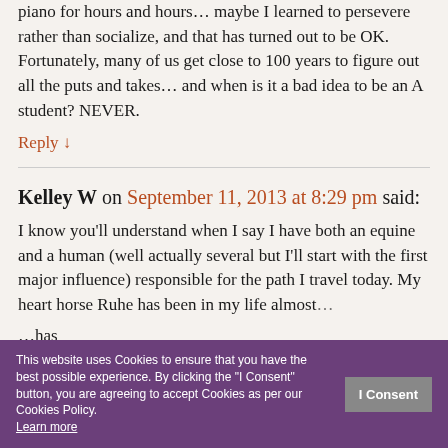piano for hours and hours… maybe I learned to persevere rather than socialize, and that has turned out to be OK. Fortunately, many of us get close to 100 years to figure out all the puts and takes… and when is it a bad idea to be an A student? NEVER.
Reply ↓
Kelley W on September 11, 2013 at 8:29 pm said:
I know you'll understand when I say I have both an equine and a human (well actually several but I'll start with the first major influence) responsible for the path I travel today. My heart horse Ruhe has been in my life almost... has shared with me. On the human side I must must must
This website uses Cookies to ensure that you have the best possible experience. By clicking the "I Consent" button, you are agreeing to accept Cookies as per our Cookies Policy. Learn more